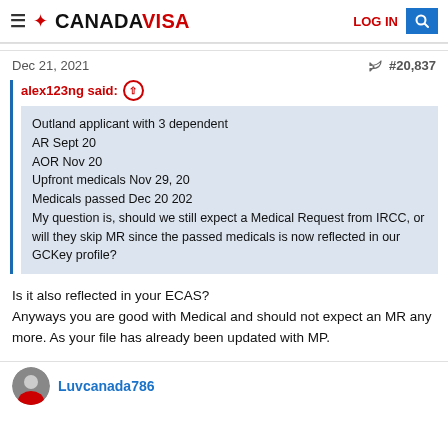CANADAVISA — LOG IN | Search
Dec 21, 2021   #20,837
alex123ng said: ↑
Outland applicant with 3 dependent
AR Sept 20
AOR Nov 20
Upfront medicals Nov 29, 20
Medicals passed Dec 20 202
My question is, should we still expect a Medical Request from IRCC, or will they skip MR since the passed medicals is now reflected in our GCKey profile?
Is it also reflected in your ECAS?
Anyways you are good with Medical and should not expect an MR any more. As your file has already been updated with MP.
Luvcanada786